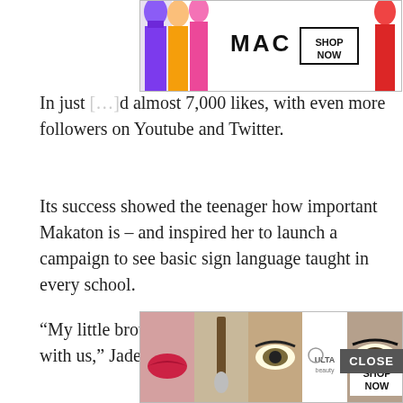[Figure (photo): MAC cosmetics advertisement banner at the top showing colorful lipsticks (purple, pink, peach, red) and MAC logo with SHOP NOW button]
In just [partially obscured] almost 7,000 likes, with even more followers on Youtube and Twitter.
Its success showed the teenager how important Makaton is – and inspired her to launch a campaign to see basic sign language taught in every school.
“My little brother uses Makaton to communicate with us,” Jade said.
“About a month ago we set up a Facebook page and each day me and Christian teach people a new sign.
[Figure (photo): ULTA beauty advertisement banner at the bottom showing makeup/beauty product images with SHOP NOW button and CLOSE button]
“It’s b[partially obscured] be better [partially obscured] hat